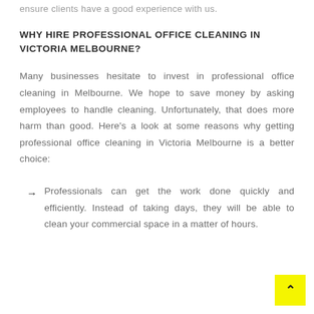ensure clients have a good experience with us.
WHY HIRE PROFESSIONAL OFFICE CLEANING IN VICTORIA MELBOURNE?
Many businesses hesitate to invest in professional office cleaning in Melbourne. We hope to save money by asking employees to handle cleaning. Unfortunately, that does more harm than good. Here's a look at some reasons why getting professional office cleaning in Victoria Melbourne is a better choice:
Professionals can get the work done quickly and efficiently. Instead of taking days, they will be able to clean your commercial space in a matter of hours.